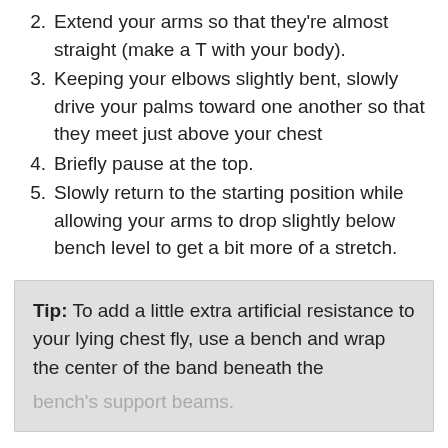2. Extend your arms so that they're almost straight (make a T with your body).
3. Keeping your elbows slightly bent, slowly drive your palms toward one another so that they meet just above your chest
4. Briefly pause at the top.
5. Slowly return to the starting position while allowing your arms to drop slightly below bench level to get a bit more of a stretch.
Tip: To add a little extra artificial resistance to your lying chest fly, use a bench and wrap the center of the band beneath the bench's support beams.